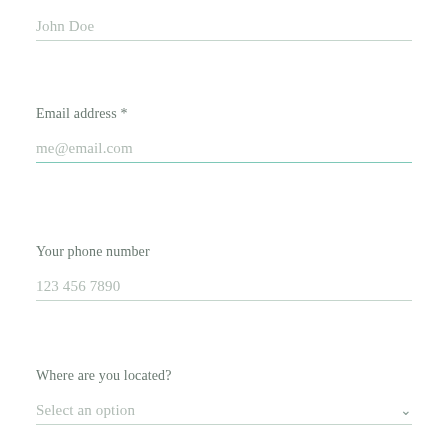John Doe
Email address *
me@email.com
Your phone number
123 456 7890
Where are you located?
Select an option